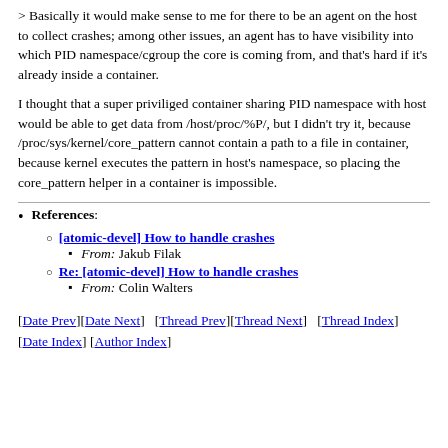> Basically it would make sense to me for there to be an agent on the host to collect crashes; among other issues, an agent has to have visibility into which PID namespace/cgroup the core is coming from, and that's hard if it's already inside a container.
I thought that a super priviliged container sharing PID namespace with host would be able to get data from /host/proc/%P/, but I didn't try it, because /proc/sys/kernel/core_pattern cannot contain a path to a file in container, because kernel executes the pattern in host's namespace, so placing the core_pattern helper in a container is impossible.
References:
[atomic-devel] How to handle crashes — From: Jakub Filak
Re: [atomic-devel] How to handle crashes — From: Colin Walters
[Date Prev][Date Next]   [Thread Prev][Thread Next]   [Thread Index] [Date Index] [Author Index]